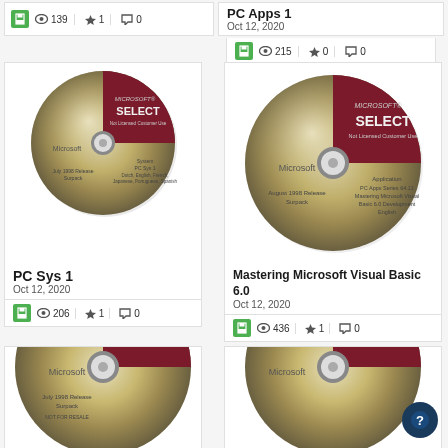[Figure (photo): Top-left partial card showing stat row with save icon, 139 views, 1 favorite, 0 comments]
PC Apps 1
Oct 12, 2020
215 views, 0 favorites, 0 comments
[Figure (photo): Microsoft SELECT CD disc - PC Sys 1, July 1998 Release]
PC Sys 1
Oct 12, 2020
206 views, 1 favorite, 0 comments
[Figure (photo): Microsoft SELECT CD disc - Mastering Microsoft Visual Basic 6.0, August 1998 Release]
Mastering Microsoft Visual Basic 6.0
Oct 12, 2020
436 views, 1 favorite, 0 comments
[Figure (photo): Microsoft SELECT CD disc - partial, bottom left]
[Figure (photo): Microsoft SELECT CD disc - partial, bottom right]